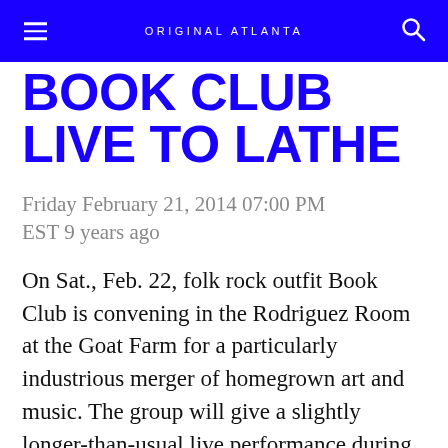ORIGINAL ATLANTA
BOOK CLUB LIVE TO LATHE
Friday February 21, 2014 07:00 PM EST 9 years ago
On Sat., Feb. 22, folk rock outfit Book Club is convening in the Rodriguez Room at the Goat Farm for a particularly industrious merger of homegrown art and music. The group will give a slightly longer-than-usual live performance during which artist Molly Rose Freeman will paint a work